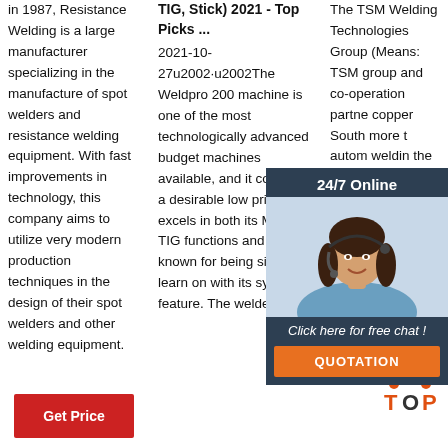in 1987, Resistance Welding is a large manufacturer specializing in the manufacture of spot welders and resistance welding equipment. With fast improvements in technology, this company aims to utilize very modern production techniques in the design of their spot welders and other welding equipment.
[Figure (other): Red 'Get Price' button]
TIG, Stick) 2021 - Top Picks ...
2021-10-27u2002·u2002The Weldpro 200 machine is one of the most technologically advanced budget machines available, and it comes at a desirable low price. It excels in both its MIG and TIG functions and is known for being simple to learn on with its synergic feature. The welder's
The TSM Welding Technologies Group (Means: TSM group and co-operation partners copper South more than automat welding the Ma volume most e supplie resistance welding machines and systems, the TSM Welding Technology Group is the best
[Figure (other): 24/7 Online chat box with woman wearing headset, 'Click here for free chat!' text, orange QUOTATION button, and TOP logo]